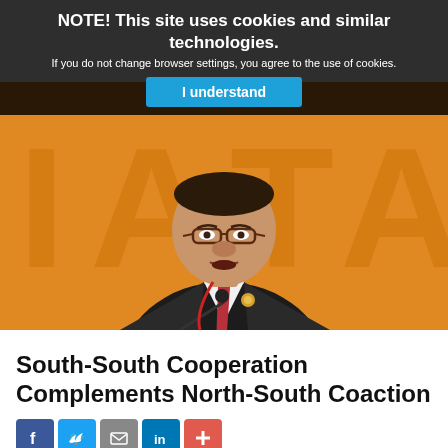NOTE! This site uses cookies and similar technologies. If you do not change browser settings, you agree to the use of cookies.
I understand
[Figure (photo): A man in a dark suit with a red tie and glasses speaking at a podium with a microphone, in front of an orange background with partial letters visible (IATA or similar).]
South-South Cooperation Complements North-South Coaction
[Figure (infographic): Social sharing icons row: Facebook (blue), Twitter (light blue), Email (gray), LinkedIn (blue), Plus/More (red-orange)]
By Ambassador Galo Yepez